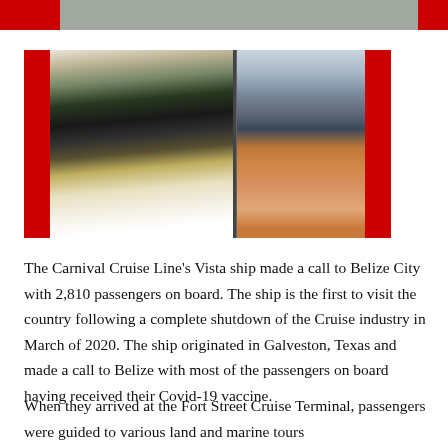[Figure (photo): Top partial image bar showing red accents on left and right with gray center area, partially cropped]
[Figure (photo): Photo of passengers wearing masks boarding or standing near a bus/coach at what appears to be a transport terminal. The image shows multiple people including a woman in a black dress. Red background framing visible on left and right sides.]
The Carnival Cruise Line's Vista ship made a call to Belize City with 2,810 passengers on board. The ship is the first to visit the country following a complete shutdown of the Cruise industry in March of 2020. The ship originated in Galveston, Texas and made a call to Belize with most of the passengers on board having received their Covid-19 vaccine.
When they arrived at the Fort Street Cruise Terminal, passengers were guided to various land and marine tours